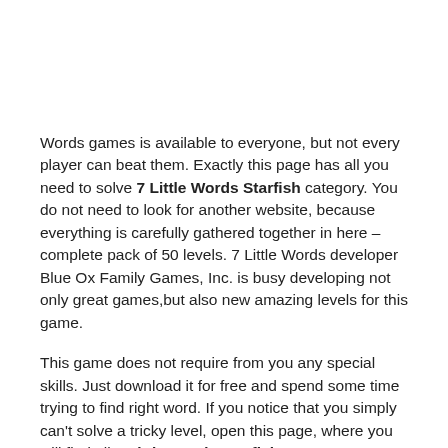Words games is available to everyone, but not every player can beat them. Exactly this page has all you need to solve 7 Little Words Starfish category. You do not need to look for another website, because everything is carefully gathered together in here – complete pack of 50 levels. 7 Little Words developer Blue Ox Family Games, Inc. is busy developing not only great games,but also new amazing levels for this game.
This game does not require from you any special skills. Just download it for free and spend some time trying to find right word. If you notice that you simply can't solve a tricky level, open this page, where you will find all 7 Little Words Starfish Answers. Many people need them to quickly skip some levels they can't pass. You can also do it for free.
Big difference between this and other similar website is that we keep 7 Little Words answers list up to date. After every